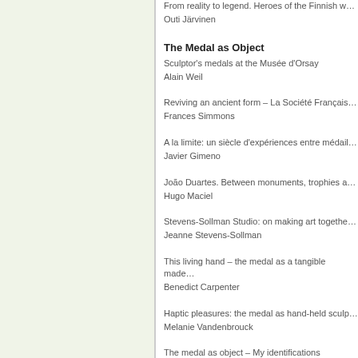From reality to legend. Heroes of the Finnish w...
Outi Järvinen
The Medal as Object
Sculptor's medals at the Musée d'Orsay
Alain Weil
Reviving an ancient form – La Société Français...
Frances Simmons
A la limite: un siècle d'expériences entre médail...
Javier Gimeno
João Duartes. Between monuments, trophies a...
Hugo Maciel
Stevens-Sollman Studio: on making art togethe...
Jeanne Stevens-Sollman
This living hand – the medal as a tangible made...
Benedict Carpenter
Haptic pleasures: the medal as hand-held sculp...
Melanie Vandenbrouck
The medal as object – My identifications
Hanna Jelonek